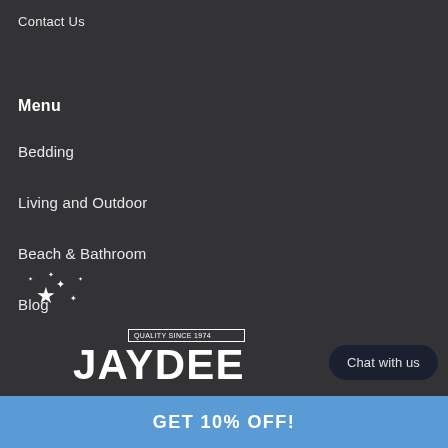Contact Us
Menu
Bedding
Living and Outdoor
Beach & Bathroom
Blog
[Figure (logo): Jaydee logo with stars and 'QUALITY SINCE 1974' text]
Chat with us
GET 10% OFF!